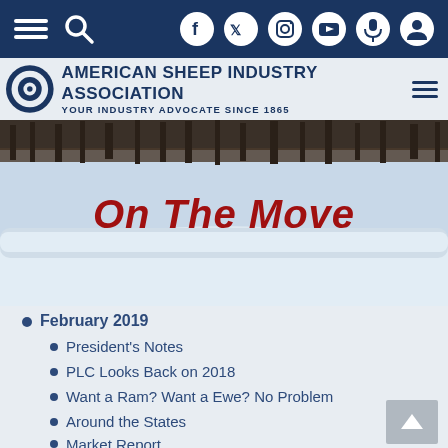American Sheep Industry Association — Your Industry Advocate Since 1865 — Navigation bar with hamburger menu, search, Facebook, Twitter, Instagram, YouTube, microphone, and user icons
[Figure (photo): Snowy winter landscape with trees and red bold italic text 'On The Move' overlaid in center]
February 2019
President's Notes
PLC Looks Back on 2018
Want a Ram? Want a Ewe? No Problem
Around the States
Market Report